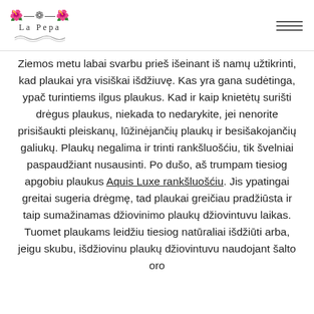La Pepa
Ziemos metu labai svarbu prieš išeinant iš namų užtikrinti, kad plaukai yra visiškai išdžiuvę. Kas yra gana sudėtinga, ypač turintiems ilgus plaukus. Kad ir kaip knietėtų surišti drėgus plaukus, niekada to nedarykite, jei nenorite prisišaukti pleiskanų, lūžinėjančių plaukų ir besišakojančių galiukų. Plaukų negalima ir trinti rankšluošćiu, tik švelniai paspaudžiant nusausinti. Po dušo, aš trumpam tiesiog apgobiu plaukus Aquis Luxe rankšluošćiu. Jis ypatingai greitai sugeria drėgmę, tad plaukai greičiau pradžiūsta ir taip sumažinamas džiovinimo plaukų džiovintuvu laikas. Tuomet plaukams leidžiu tiesiog natūraliai išdžiūti arba, jeigu skubu, išdžiovinu plaukų džiovintuvu naudojant šalto oro